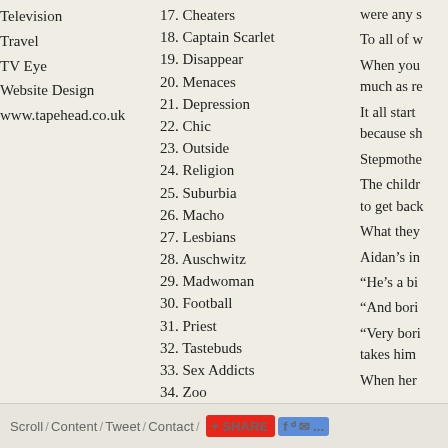Television
Travel
TV Eye
Website Design
www.tapehead.co.uk
17. Cheaters
18. Captain Scarlet
19. Disappear
20. Menaces
21. Depression
22. Chic
23. Outside
24. Religion
25. Suburbia
26. Macho
27. Lesbians
28. Auschwitz
29. Madwoman
30. Football
31. Priest
32. Tastebuds
33. Sex Addicts
34. Zoo
35. World
36. Body Language
were any s
To all of w
When you much as re
It all start because sh
Stepmothe
The childr to get back
What they
Aidan’s in
“He’s a bi
“And bori
“Very bori takes him
When her straight...
Scroll / Content / Tweet / Contact / SHARE